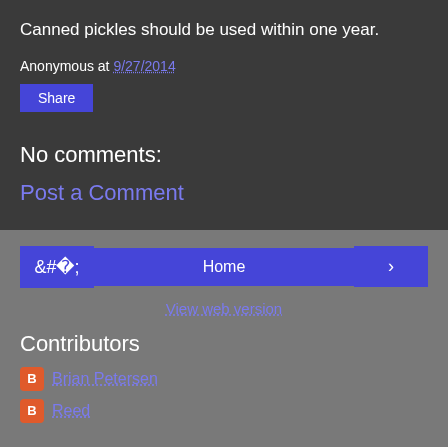Canned pickles should be used within one year.
Anonymous at 9/27/2014
Share
No comments:
Post a Comment
‹
Home
›
View web version
Contributors
Brian Petersen
Reed